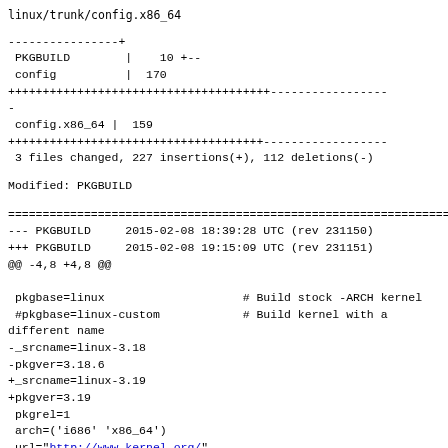linux/trunk/config.x86_64
----------------+
 PKGBUILD        |    10 +--
 config          |  170
++++++++++++++++++++++++++++++++++++++-----------------
-
 config.x86_64 |  159
+++++++++++++++++++++++++++++++++++++------------------
 3 files changed, 227 insertions(+), 112 deletions(-)
Modified: PKGBUILD
==================================================================
--- PKGBUILD     2015-02-08 18:39:28 UTC (rev 231150)
+++ PKGBUILD     2015-02-08 19:15:09 UTC (rev 231151)
@@ -4,8 +4,8 @@

 pkgbase=linux                    # Build stock -ARCH kernel
 #pkgbase=linux-custom            # Build kernel with a
different name
-_srcname=linux-3.18
-pkgver=3.18.6
+_srcname=linux-3.19
+pkgver=3.19
 pkgrel=1
 arch=('i686' 'x86_64')
 url="http://www.kernel.org/"
@@ -14,8 +14,8 @@
 options=('!strip')
 source=